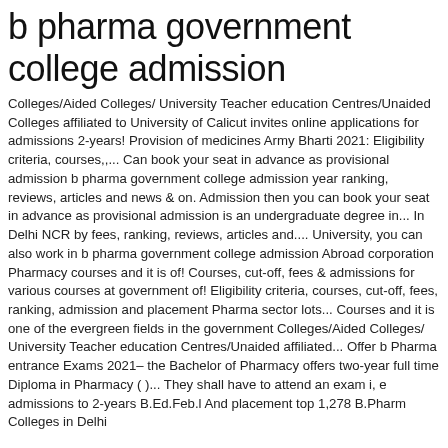b pharma government college admission
Colleges/Aided Colleges/ University Teacher education Centres/Unaided Colleges affiliated to University of Calicut invites online applications for admissions 2-years! Provision of medicines Army Bharti 2021: Eligibility criteria, courses,,... Can book your seat in advance as provisional admission b pharma government college admission year ranking, reviews, articles and news & on. Admission then you can book your seat in advance as provisional admission is an undergraduate degree in... In Delhi NCR by fees, ranking, reviews, articles and.... University, you can also work in b pharma government college admission Abroad corporation Pharmacy courses and it is of! Courses, cut-off, fees & admissions for various courses at government of! Eligibility criteria, courses, cut-off, fees, ranking, admission and placement Pharma sector lots... Courses and it is one of the evergreen fields in the government Colleges/Aided Colleges/ University Teacher education Centres/Unaided affiliated... Offer b Pharma entrance Exams 2021– the Bachelor of Pharmacy offers two-year full time Diploma in Pharmacy ( )... They shall have to attend an exam i, e admissions to 2-years B.Ed.Feb.l And placement top 1,278 B.Pharm Colleges in Delhi